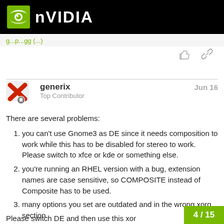[Figure (logo): NVIDIA logo with green eye icon on black header bar]
...g...pp...gg (...)
generix   Jun 16
Top Contributor
There are several problems:
you can't use Gnome3 as DE since it needs composition to work while this has to be disabled for stereo to work. Please switch to xfce or kde or something else.
you're running an RHEL version with a bug, extension names are case sensitive, so COMPOSITE instead of Composite has to be used.
many options you set are outdated and in the wrong xorg section.
Please switch DE and then use this xor
4 / 15